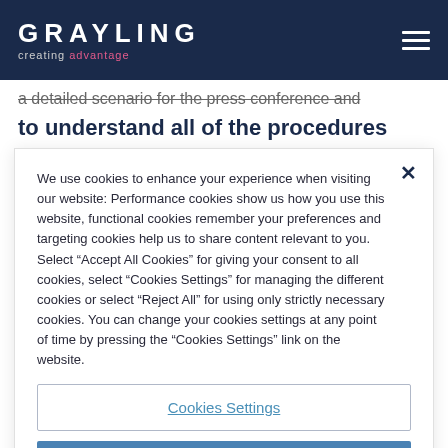GRAYLING creating advantage
a detailed scenario for the press conference and to understand all of the procedures before and
We use cookies to enhance your experience when visiting our website: Performance cookies show us how you use this website, functional cookies remember your preferences and targeting cookies help us to share content relevant to you. Select “Accept All Cookies” for giving your consent to all cookies, select “Cookies Settings” for managing the different cookies or select “Reject All” for using only strictly necessary cookies. You can change your cookies settings at any point of time by pressing the “Cookies Settings” link on the website.
Cookies Settings
Reject All